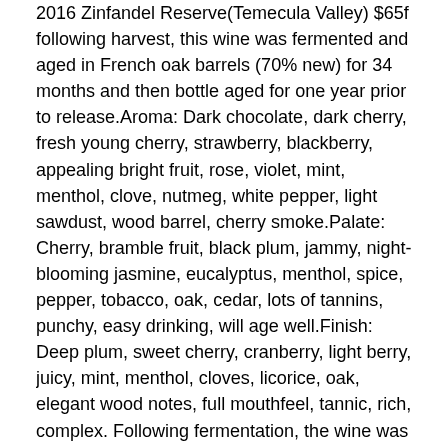2016 Zinfandel Reserve(Temecula Valley) $65f following harvest, this wine was fermented and aged in French oak barrels (70% new) for 34 months and then bottle aged for one year prior to release.Aroma: Dark chocolate, dark cherry, fresh young cherry, strawberry, blackberry, appealing bright fruit, rose, violet, mint, menthol, clove, nutmeg, white pepper, light sawdust, wood barrel, cherry smoke.Palate: Cherry, bramble fruit, black plum, jammy, night-blooming jasmine, eucalyptus, menthol, spice, pepper, tobacco, oak, cedar, lots of tannins, punchy, easy drinking, will age well.Finish: Deep plum, sweet cherry, cranberry, light berry, juicy, mint, menthol, cloves, licorice, oak, elegant wood notes, full mouthfeel, tannic, rich, complex. Following fermentation, the wine was aged in 100% French oak (30% new) for 18 months before bottling.Aroma: Black cherry, blackberry, blackberry jam, blueberry, raspberry Jello, currant, tart apple, burnt sugar, burnt leather, smoke, oak.Palate: Cherry, sour cherry, big blackberry, boysenberry, blueberry, plum, Mirabel plums, currants, concentrated red fruits, jammy, vanilla, toast, tobacco leaf, acidic.Finish: Sour cherry, dark fruits, juicy, jammy, raisin, wet stone, medium acidity, medium tannins,